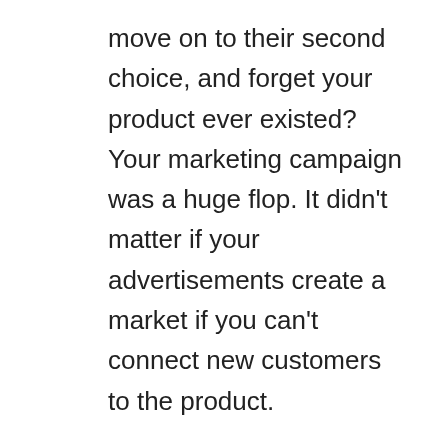move on to their second choice, and forget your product ever existed? Your marketing campaign was a huge flop. It didn't matter if your advertisements create a market if you can't connect new customers to the product.
So, what does this have to do with you? Your practice isn't selling a product. It's providing a service. It's not like you can run out of appointments. You can however, fail to connect new patients with those appointments. And in many